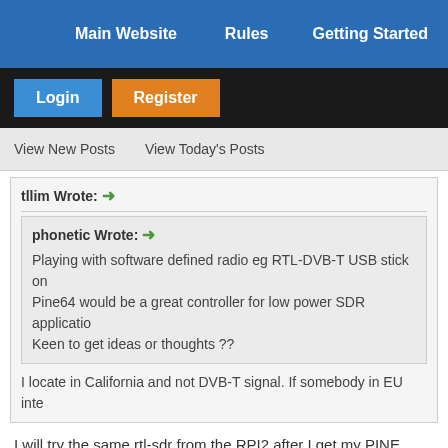Main Website   Rules   Getting Started
Login   Register
View New Posts   View Today's Posts
tllim Wrote: →
phonetic Wrote: → Playing with software defined radio eg RTL-DVB-T USB stick on Pine64 would be a great controller for low power SDR applications. Keen to get ideas or thoughts ??
I locate in California and not DVB-T signal. If somebody in EU inte
I will try the same rtl-sdr from the RPI2 after I get my PINE A64, hop
tllim:
From the rtl-sdr README : http://sdr.osmocom.org/trac/wiki/rtl-sdr
The dongle specific base AFC value can be acquired by listening PS